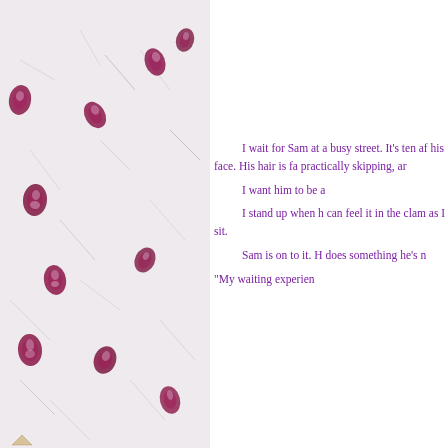[Figure (illustration): Decorative left panel with floral/botanical background — white textured paper with scattered dark pink/magenta flower petals and thin grass or straw stems pressed flat, arranged across the full left side of the page.]
I wait for Sam at a busy street. It's ten af his face. His hair is fa practically skipping, ar I want him to be a I stand up when h can feel it in the clam as I sit. Sam is on to it. H does something he's n "My waiting experien